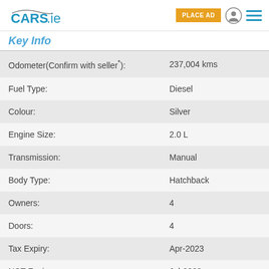CARS.ie — PLACE AD
Key Info
| Field | Value |
| --- | --- |
| Odometer(Confirm with seller*): | 237,004 kms |
| Fuel Type: | Diesel |
| Colour: | Silver |
| Engine Size: | 2.0 L |
| Transmission: | Manual |
| Body Type: | Hatchback |
| Owners: | 4 |
| Doors: | 4 |
| Tax Expiry: | Apr-2023 |
| NCT Expiry: | Jul-2023 |